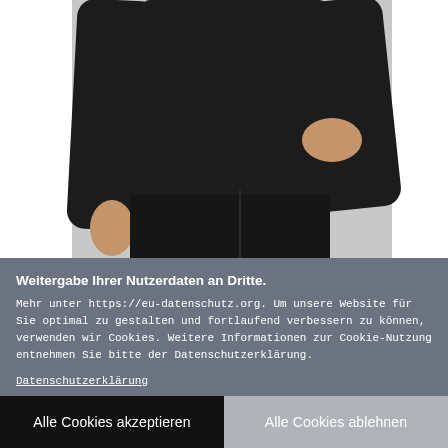[Figure (photo): Photo of a person wearing a black long-sleeve top and black pants, shown from torso to below waist, with one hand on hip and the other at side, against a light grey background.]
Weitergabe Ihrer Nutzerdaten an Dritte. Mehr unter https://eu-datenschutz.org. Um unsere Website für Sie optimal zu gestalten und fortlaufend verbessern zu können, verwenden wir Cookies. Weitere Informationen zur Cookie-Nutzung entnehmen Sie bitte der Datenschutzerklärung. Datenschutzerklärung
Alle Cookies akzeptieren
Alle Cookies ablehnen